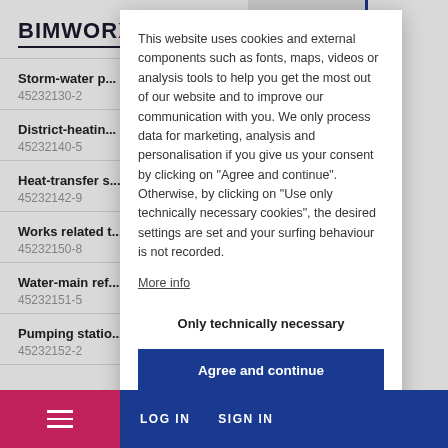[Figure (screenshot): BIMWORX website logo in top left corner]
Storm-water p...
45232130-2
District-heatin...
45232140-5
Heat-transfer s...
45232142-9
Works related t...
45232150-8
Water-main ref...
45232151-5
Pumping statio...
45232152-2
This website uses cookies and external components such as fonts, maps, videos or analysis tools to help you get the most out of our website and to improve our communication with you. We only process data for marketing, analysis and personalisation if you give us your consent by clicking on "Agree and continue". Otherwise, by clicking on "Use only technically necessary cookies", the desired settings are set and your surfing behaviour is not recorded.
More info
Only technically necessary
Agree and continue
LOG IN   SIGN IN